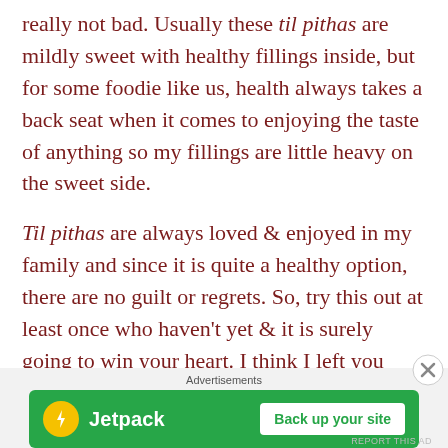really not bad. Usually these til pithas are mildly sweet with healthy fillings inside, but for some foodie like us, health always takes a back seat when it comes to enjoying the taste of anything so my fillings are little heavy on the sweet side.
Til pithas are always loved & enjoyed in my family and since it is quite a healthy option, there are no guilt or regrets. So, try this out at least once who haven't yet & it is surely going to win your heart. I think I left you overloaded...not dragging it more...lets jump to the recipe below 👇
RECIPE:
Ingredients :
[Figure (other): Jetpack advertisement banner with green background, Jetpack logo (yellow lightning bolt circle), and 'Back up your site' button. Labeled 'Advertisements' above. Close button (X) in circle at top right.]